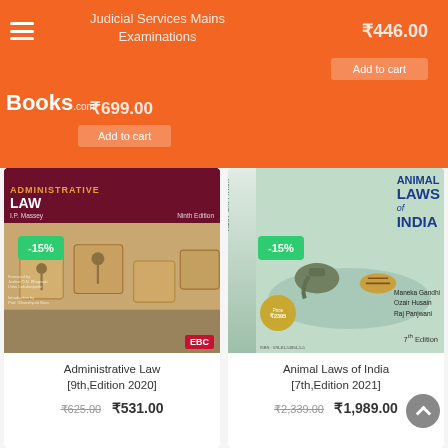Judicial Services Mains Examinations
₹699.00
₹446.00
Add to cart
Add to cart
[Figure (photo): Book cover: Administrative Law, 9th Edition 2020 by I.P. Massey, EBC publisher, showing wooden blocks with human figures on a table. -15% discount badge shown.]
Administrative Law
[9th,Edition 2020]
₹625.00 ₹531.00
[Figure (photo): Book cover: Animal Laws of India, 7th Edition 2021 by Maneka Gandhi, Ozair Husain, Raj Panjwani. -15% discount badge shown.]
Animal Laws of India
[7th,Edition 2021]
₹2,339.00 ₹1,989.00